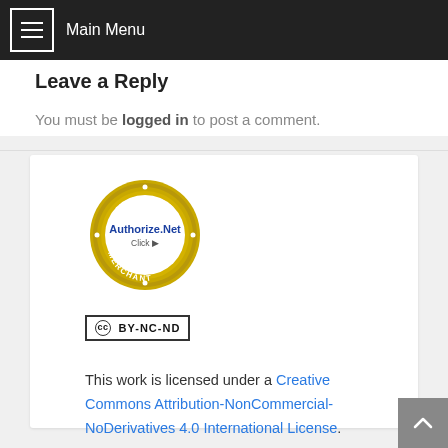Main Menu
Leave a Reply
You must be logged in to post a comment.
[Figure (logo): Authorize.Net Verified Merchant Click badge - gold circular seal with blue Authorize.Net text in center]
[Figure (logo): Creative Commons BY-NC-ND license badge - black and white rectangular badge]
This work is licensed under a Creative Commons Attribution-NonCommercial-NoDerivatives 4.0 International License.